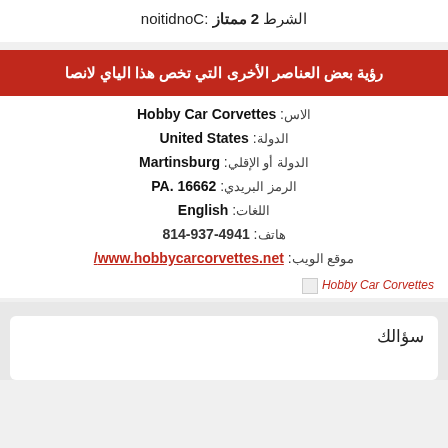الشرط 2 ممتاز :Condition
رؤية بعض العناصر الأخرى التي تخص هذا الياي لانصا
الاس: Hobby Car Corvettes
الدولة: United States
الدولة أو الإقلي: Martinsburg
الرمز البريدي: PA. 16662
اللغات: English
هاتف: 4941-937-814
موقع الويب: www.hobbycarcorvettes.net/
[Figure (logo): Hobby Car Corvettes logo placeholder]
سؤالك